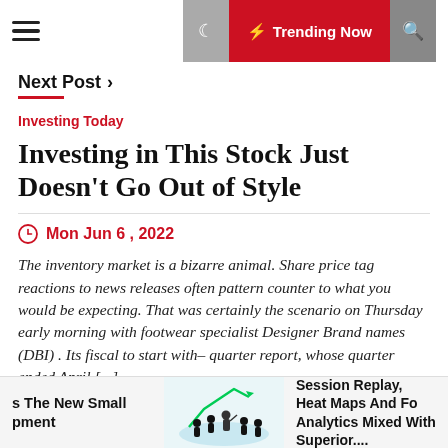≡  🌙  ⚡ Trending Now  🔍
Next Post >
Investing Today
Investing in This Stock Just Doesn't Go Out of Style
Mon Jun 6 , 2022
The inventory market is a bizarre animal. Share price tag reactions to news releases often pattern counter to what you would be expecting. That was certainly the scenario on Thursday early morning with footwear specialist Designer Brand names (DBI) . Its fiscal to start with– quarter report, whose quarter ended April [...]
s The New Small pment    Session Replay, Heat Maps And Fo Analytics Mixed With Superior....